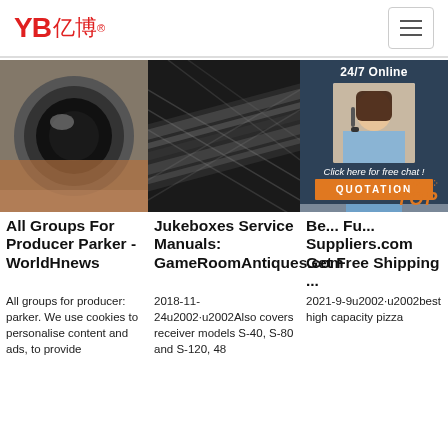YB亿博® [navigation hamburger menu]
[Figure (photo): Close-up of a rubber hydraulic hose end, dark circular opening, hand visible holding it]
[Figure (photo): Close-up of a black braided hydraulic hose at an angle, showing braid texture]
[Figure (photo): Customer service representative with headset, 24/7 Online chat overlay with QUOTATION button and TOP badge]
All Groups For Producer Parker - WorldHnews
All groups for producer: parker. We use cookies to personalise content and ads, to provide
Jukeboxes Service Manuals: GameRoomAntiques.com
2018-11-24u2002·u2002Also covers receiver models S-40, S-80 and S-120, 48
Be... Fu... Suppliers.com Get Free Shipping ...
2021-9-9u2002·u2002best high capacity pizza